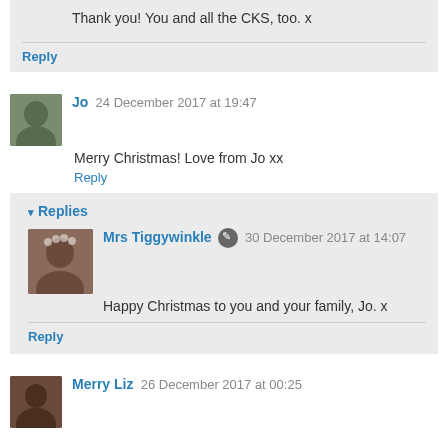Thank you! You and all the CKS, too. x
Reply
Jo  24 December 2017 at 19:47
Merry Christmas! Love from Jo xx
Reply
Replies
Mrs Tiggywinkle  30 December 2017 at 14:07
Happy Christmas to you and your family, Jo. x
Reply
Merry Liz  26 December 2017 at 00:25